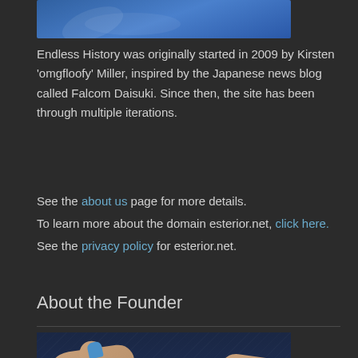[Figure (photo): Partial image of a blue-toned background, top of page (cropped)]
Endless History was originally started in 2009 by Kirsten 'omgfloofy' Miller, inspired by the Japanese news blog called Falcom Daisuki. Since then, the site has been through multiple iterations.
See the about us page for more details.
To learn more about the domain esterior.net, click here.
See the privacy policy for esterior.net.
About the Founder
[Figure (photo): Close-up photo of hands with blue nail polish holding a black game controller (PlayStation-style), against a dark jeans background]
When starting Endless History, Kirsten had already been active in the Falcom fan community for years. She is also a member of Sanctuary Crew gaming, streams games on [link] and develops